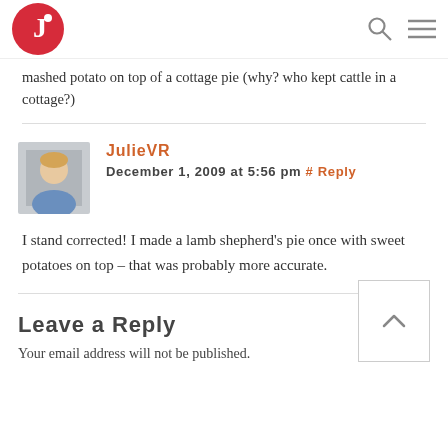JulieVR blog header with logo, search icon, and menu icon
mashed potato on top of a cottage pie (why? who kept cattle in a cottage?)
JulieVR
December 1, 2009 at 5:56 pm # Reply
I stand corrected! I made a lamb shepherd's pie once with sweet potatoes on top – that was probably more accurate.
Leave a Reply
Your email address will not be published.